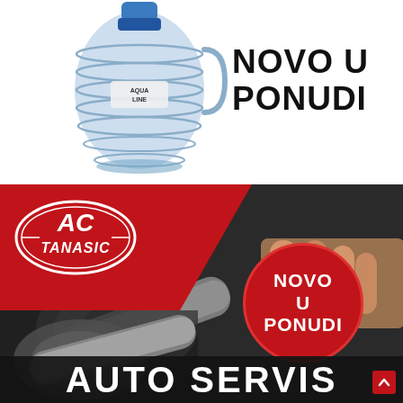[Figure (photo): Water bottle (Aqua Line large container) on white background with text NOVO U PONUDI (New in offer) in bold black letters to the right]
NOVO U PONUDI
[Figure (photo): AC Tanasic auto service advertisement banner with red background on left showing AC Tanasic logo, photo of hands working with a wrench on dark machinery, a red circle badge with white text NOVO U PONUDI, and AUTO SERVIS text at the bottom]
NOVO U PONUDI
AUTO SERVIS